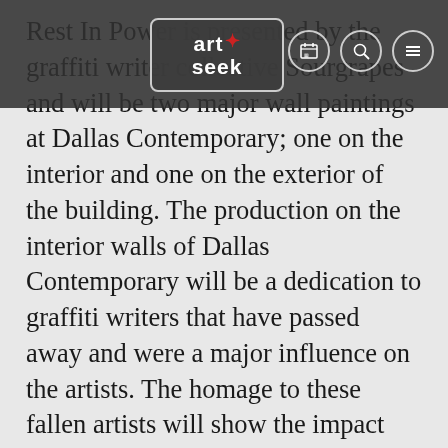art+seek [logo and navigation icons]
Rest In Power is presented by the graffiti writer collective Sourgrapes and will be two major wall paintings at Dallas Contemporary; one on the interior and one on the exterior of the building. The production on the interior walls of Dallas Contemporary will be a dedication to graffiti writers that have passed away and were a major influence on the artists. The homage to these fallen artists will show the impact they have had on the culture of street and urban-focused art. On the exterior of the building will be a continuation of a project of the last several years by Sourgrapes. Four giant paletas (Mexican popsicles) will be painted as an ongoing memorial to those involved in a series